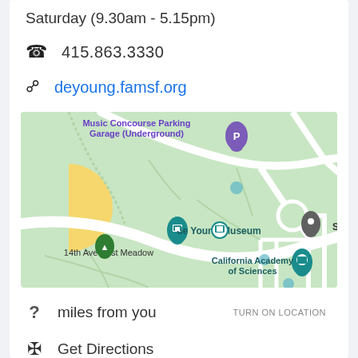Saturday (9.30am - 5.15pm)
415.863.3330
deyoung.famsf.org
[Figure (map): Google Maps showing de Young Museum location in Golden Gate Park, San Francisco. Map shows Music Concourse Parking Garage (Underground), de Young Museum, 14th Ave East Meadow, SkyStar W, and California Academy of Sciences.]
? miles from you
TURN ON LOCATION
Get Directions